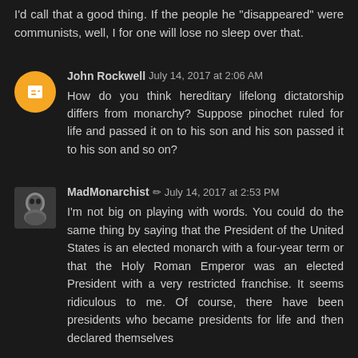I'd call that a good thing. If the people he "disappeared" were communists, well, I for one will lose no sleep over that.
John Rockwell July 14, 2017 at 2:06 AM
How do you think hereditary lifelong dictatorship differs from monarchy? Suppose pinochet ruled for life and passed it on to his son and his son passed it to his son and so on?
MadMonarchist ✏ July 14, 2017 at 2:53 PM
I'm not big on playing with words. You could do the same thing by saying that the President of the United States is an elected monarch with a four-year term or that the Holy Roman Emperor was an elected President with a very restricted franchise. It seems ridiculous to me. Of course, there have been presidents who became presidents for life and then declared themselves